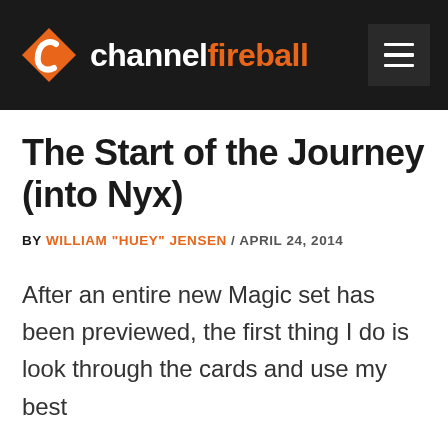channelfireball
The Start of the Journey (into Nyx)
BY WILLIAM "HUEY" JENSEN / APRIL 24, 2014
After an entire new Magic set has been previewed, the first thing I do is look through the cards and use my best